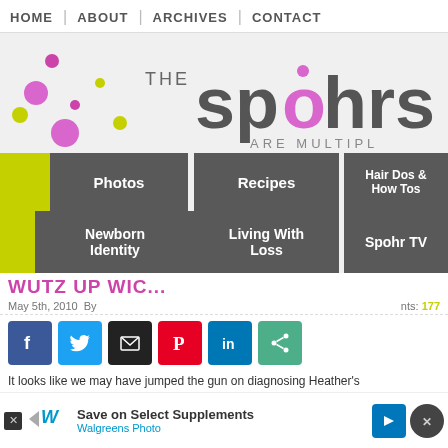HOME | ABOUT | ARCHIVES | CONTACT
[Figure (logo): The Spohrs Are Multiplying blog logo with colorful dot decorations and large stylized text]
Photos
Newborn Identity
Recipes
Living With Loss
The Preschool Photos
Hair Dos & How Tos
Spohr TV
WUTZ UP WIC...
May 5th, 2010    By ...    nts: 177
[Figure (infographic): Social sharing icons row: Facebook, Twitter, Email, Pinterest, LinkedIn, Share]
It looks like we may have jumped the gun on diagnosing Heather's
[Figure (infographic): Walgreens advertisement banner: Save on Select Supplements - Walgreens Photo]